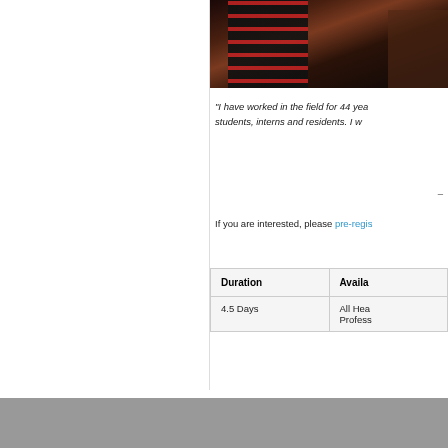[Figure (photo): Person in striped shirt sitting at a desk, partially cropped]
"I have worked in the field for 44 yea... students, interns and residents. I w...
-
If you are interested, please pre-regis...
| Duration | Availa... |
| --- | --- |
| 4.5 Days | All Hea...
Profess... |